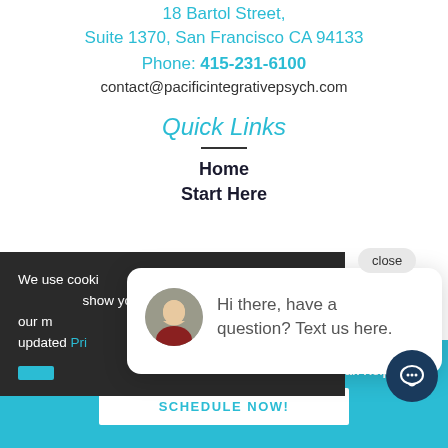18 Bartol Street, Suite 1370, San Francisco CA 94133
Phone: 415-231-6100
contact@pacificintegrativepsych.com
Quick Links
Home
Start Here
We use cookies to improve your experience on our website to show you relevant information. To find our more, please read our updated Privacy Policy.
Hi there, have a question? Text us here.
Set Up A Health Strategy Session To See How We Can Help You
SCHEDULE NOW!